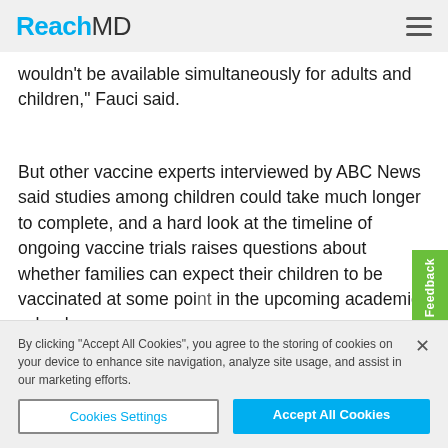ReachMD
wouldn't be available simultaneously for adults and children," Fauci said.
But other vaccine experts interviewed by ABC News said studies among children could take much longer to complete, and a hard look at the timeline of ongoing vaccine trials raises questions about whether families can expect their children to be vaccinated at some point in the upcoming academic school year.
"Children will be vaccinated, in time," said Dr. Paul Offit, director of the Vaccine Education Center at the Children's Hospital of Philadelphia, according to Found...
By clicking "Accept All Cookies", you agree to the storing of cookies on your device to enhance site navigation, analyze site usage, and assist in our marketing efforts.
Cookies Settings
Accept All Cookies